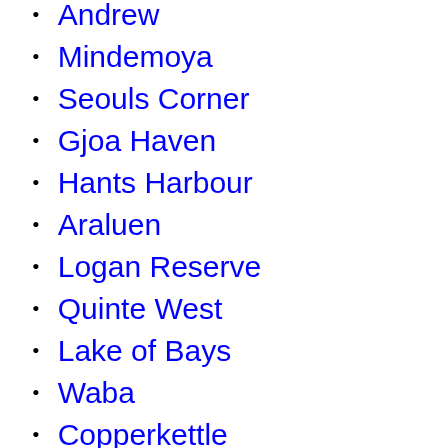Andrew
Mindemoya
Seouls Corner
Gjoa Haven
Hants Harbour
Araluen
Logan Reserve
Quinte West
Lake of Bays
Waba
Copperkettle
Minitonas